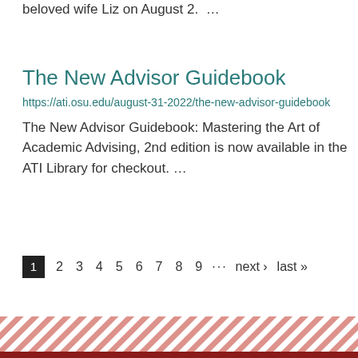beloved wife Liz on August 2. …
The New Advisor Guidebook
https://ati.osu.edu/august-31-2022/the-new-advisor-guidebook
The New Advisor Guidebook: Mastering the Art of Academic Advising, 2nd edition is now available in the ATI Library for checkout. …
1 2 3 4 5 6 7 8 9 … next › last »